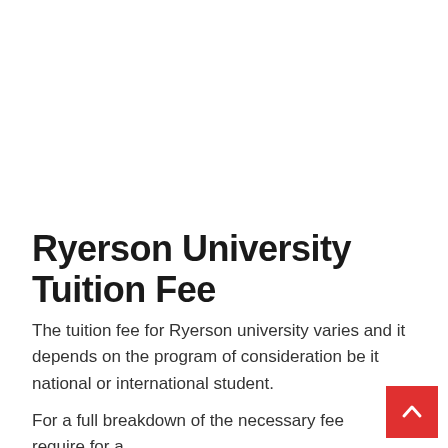Ryerson University Tuition Fee
The tuition fee for Ryerson university varies and it depends on the program of consideration be it national or international student.
For a full breakdown of the necessary fee require for a